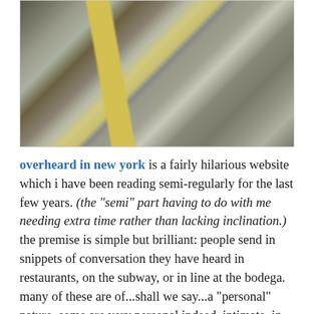[Figure (photo): Aerial view of New York City streets and skyscrapers, showing yellow taxis and dense urban buildings from above]
overheard in new york is a fairly hilarious website which i have been reading semi-regularly for the last few years. (the "semi" part having to do with me needing extra time rather than lacking inclination.) the premise is simple but brilliant: people send in snippets of conversation they have heard in restaurants, on the subway, or in line at the bodega. many of these are of...shall we say...a "personal" nature. some are very personal indeed. intimate, in fact. (if you can call something that was being discussed on the M5 bus in a voice loud enough to be heard three seats back "intimate"?!) which is where the aforementioned disclaimer comes in: if you are offended by R-rated language and/or a frank